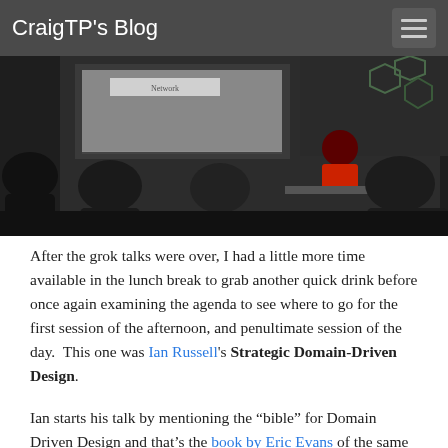CraigTP's Blog
[Figure (photo): A darkened conference room with people seated watching a presentation. A person in a red shirt is visible at the front near a table, and a projection screen is visible on the left.]
After the grok talks were over, I had a little more time available in the lunch break to grab another quick drink before once again examining the agenda to see where to go for the first session of the afternoon, and penultimate session of the day.  This one was Ian Russell's Strategic Domain-Driven Design.
Ian starts his talk by mentioning the “bible” for Domain Driven Design and that’s the book by Eric Evans of the same name.  Ian asks the audience who has read the